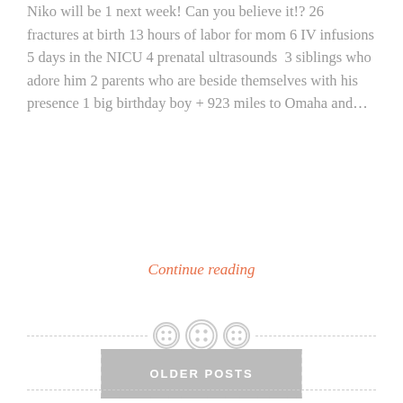Niko will be 1 next week! Can you believe it!? 26 fractures at birth 13 hours of labor for mom 6 IV infusions 5 days in the NICU 4 prenatal ultrasounds  3 siblings who adore him 2 parents who are beside themselves with his presence 1 big birthday boy + 923 miles to Omaha and…
Continue reading
[Figure (illustration): Three decorative button icons forming a section divider between dashed lines]
OLDER POSTS